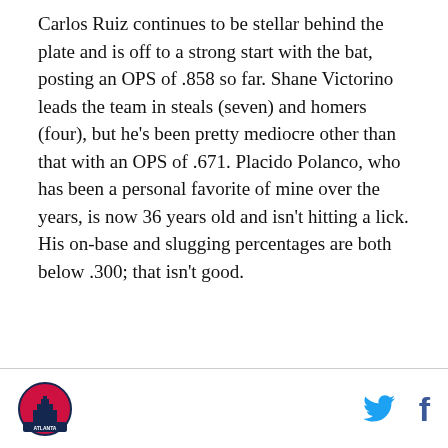Carlos Ruiz continues to be stellar behind the plate and is off to a strong start with the bat, posting an OPS of .858 so far. Shane Victorino leads the team in steals (seven) and homers (four), but he's been pretty mediocre other than that with an OPS of .671. Placido Polanco, who has been a personal favorite of mine over the years, is now 36 years old and isn't hitting a lick. His on-base and slugging percentages are both below .300; that isn't good.
Atlanta Braves logo | Twitter icon | Facebook icon